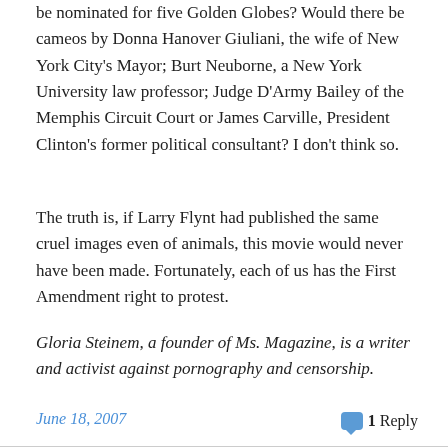be nominated for five Golden Globes? Would there be cameos by Donna Hanover Giuliani, the wife of New York City's Mayor; Burt Neuborne, a New York University law professor; Judge D'Army Bailey of the Memphis Circuit Court or James Carville, President Clinton's former political consultant? I don't think so.
The truth is, if Larry Flynt had published the same cruel images even of animals, this movie would never have been made. Fortunately, each of us has the First Amendment right to protest.
Gloria Steinem, a founder of Ms. Magazine, is a writer and activist against pornography and censorship.
June 18, 2007   1 Reply